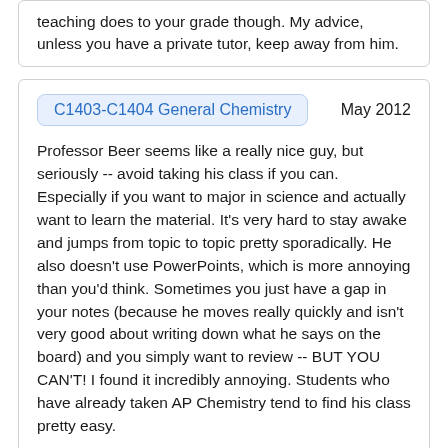teaching does to your grade though. My advice, unless you have a private tutor, keep away from him.
C1403-C1404 General Chemistry
May 2012
Professor Beer seems like a really nice guy, but seriously -- avoid taking his class if you can. Especially if you want to major in science and actually want to learn the material. It's very hard to stay awake and jumps from topic to topic pretty sporadically. He also doesn't use PowerPoints, which is more annoying than you'd think. Sometimes you just have a gap in your notes (because he moves really quickly and isn't very good about writing down what he says on the board) and you simply want to review -- BUT YOU CAN'T! I found it incredibly annoying. Students who have already taken AP Chemistry tend to find his class pretty easy.